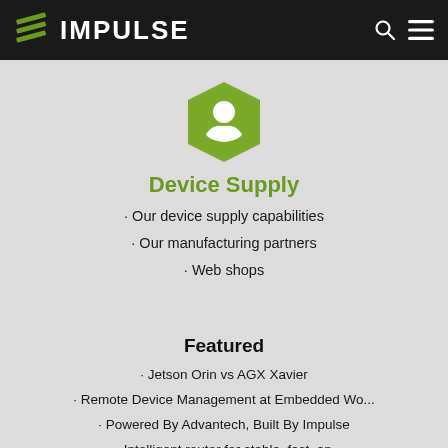IMPULSE
[Figure (logo): Impulse green hexagon icon with hand and circle inside]
Device Supply
Our device supply capabilities
Our manufacturing partners
Web shops
Featured
Jetson Orin vs AGX Xavier
Remote Device Management at Embedded Wo...
Powered By Advantech, Built By Impulse
Intelligent router for stable, fast, an